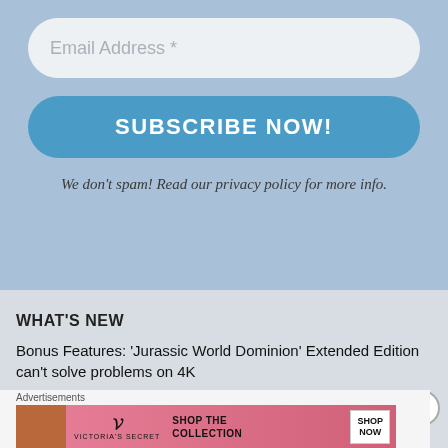Email Address *
SUBSCRIBE NOW!
We don't spam! Read our privacy policy for more info.
WHAT'S NEW
Bonus Features: ‘Jurassic World Dominion’ Extended Edition can’t solve problems on 4K
Advertisements
[Figure (screenshot): Victoria's Secret advertisement banner: SHOP THE COLLECTION / SHOP NOW button]